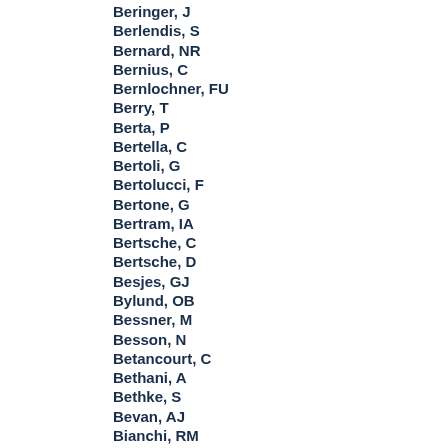Beringer, J
Berlendis, S
Bernard, NR
Bernius, C
Bernlochner, FU
Berry, T
Berta, P
Bertella, C
Bertoli, G
Bertolucci, F
Bertone, G
Bertram, IA
Bertsche, C
Bertsche, D
Besjes, GJ
Bylund, OB
Bessner, M
Besson, N
Betancourt, C
Bethani, A
Bethke, S
Bevan, AJ
Bianchi, RM
Bianchini, L
Bianco, M
Biebel, O
Biedermann, D